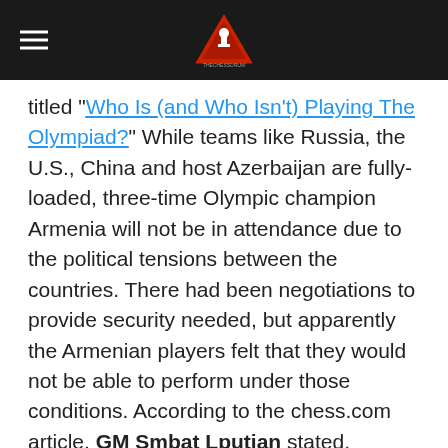[Chess drum logo with hamburger menu]
titled "Who Is (and Who Isn't) Playing The Olympiad?" While teams like Russia, the U.S., China and host Azerbaijan are fully-loaded, three-time Olympic champion Armenia will not be in attendance due to the political tensions between the countries. There had been negotiations to provide security needed, but apparently the Armenian players felt that they would not be able to perform under those conditions. According to the chess.com article, GM Smbat Lputian stated,
Not as the Vice President as the Chess Federation but as a chess player I understand the decision of our chess